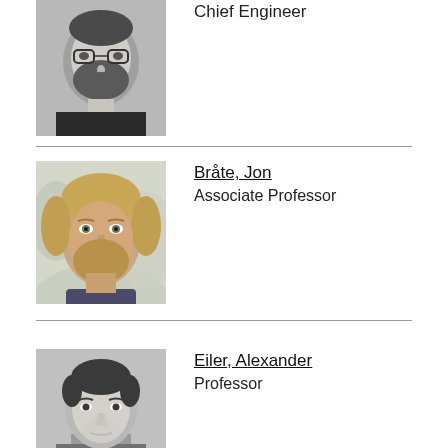[Figure (photo): Black and white headshot of a bearded man with glasses wearing a dark t-shirt]
Chief Engineer
[Figure (photo): Color photo of a man with medium-length blond hair and a beard, outdoors with blurred background]
Bråte, Jon
Associate Professor
[Figure (photo): Black and white headshot of a man with short dark hair]
Eiler, Alexander
Professor